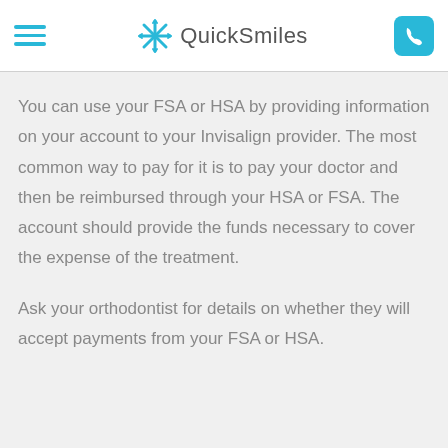QuickSmiles
You can use your FSA or HSA by providing information on your account to your Invisalign provider. The most common way to pay for it is to pay your doctor and then be reimbursed through your HSA or FSA. The account should provide the funds necessary to cover the expense of the treatment.
Ask your orthodontist for details on whether they will accept payments from your FSA or HSA.